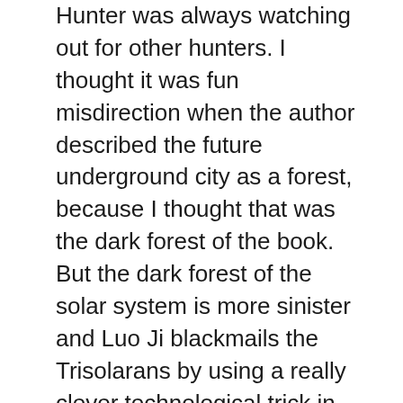Hunter was always watching out for other hunters. I thought it was fun misdirection when the author described the future underground city as a forest, because I thought that was the dark forest of the book. But the dark forest of the solar system is more sinister and Luo Ji blackmails the Trisolarans by using a really clever technological trick in positioning a relay network in space to send out a signal of Earth’s location if the Trisolarans don’t agree to call off the invasion. He’s gambling that the fate of humanity is better left to chance that the assured destruction represented by the invading aliens.
The book ends with this completely new relationship between Trisolaris and Earth and I can’t wait to see the conclusion. The book built up to this tremendous finale with so many technological tricks and strategies and brilliant